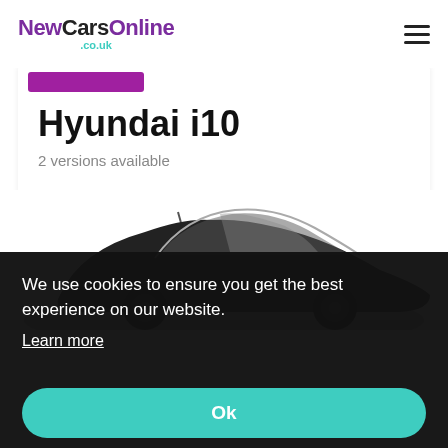NewCarsOnline .co.uk
Hyundai i10
2 versions available
[Figure (photo): Side view silhouette of a Hyundai i10 small hatchback car, dark background]
We use cookies to ensure you get the best experience on our website.
Learn more
Ok